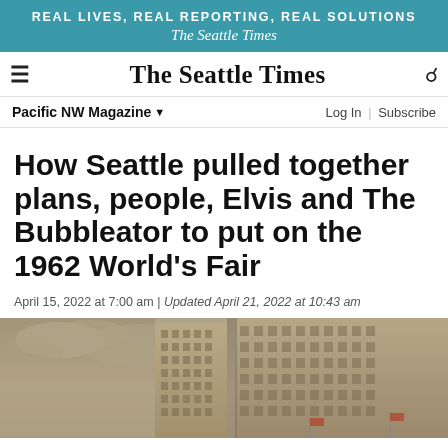[Figure (other): Teal advertisement banner for The Seattle Times: 'REAL LIVES, REAL REPORTING, REAL SOLUTIONS' above 'The Seattle Times' in italic serif font, white text on teal background.]
The Seattle Times — navigation bar with hamburger menu, title, and search icon
Pacific NW Magazine ▼   Log In | Subscribe
How Seattle pulled together plans, people, Elvis and The Bubbleator to put on the 1962 World's Fair
April 15, 2022 at 7:00 am | Updated April 21, 2022 at 10:43 am
[Figure (photo): Sepia-toned historic photograph showing Seattle buildings and cloudy sky, likely from around the 1962 World's Fair era. Multiple tall buildings with many windows are visible along with American flags.]